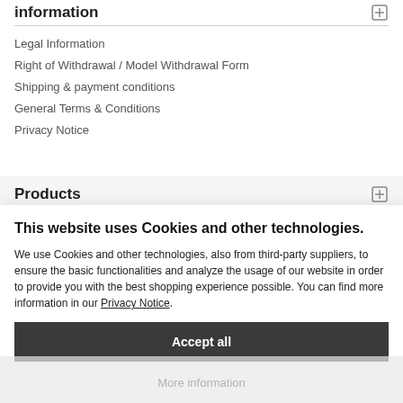Information
Legal Information
Right of Withdrawal / Model Withdrawal Form
Shipping & payment conditions
General Terms & Conditions
Privacy Notice
Products
This website uses Cookies and other technologies.
We use Cookies and other technologies, also from third-party suppliers, to ensure the basic functionalities and analyze the usage of our website in order to provide you with the best shopping experience possible. You can find more information in our Privacy Notice.
Accept all
More information